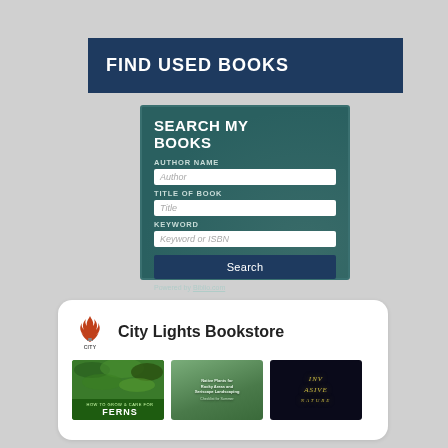FIND USED BOOKS
[Figure (screenshot): Search widget with teal/dark green background titled 'SEARCH MY BOOKS', with form fields for Author Name, Title of Book, Keyword, a Search button, and 'Powered by Biblio.com' text]
[Figure (logo): City Lights Bookstore logo with stylized flame/person icon and text 'CITY LIGHTS']
City Lights Bookstore
[Figure (photo): Three book thumbnails: 'How to Grow & Care for Ferns', a native plants for rocky areas landscaping book, and 'Invasive Nature' (dark cover with bird illustration)]